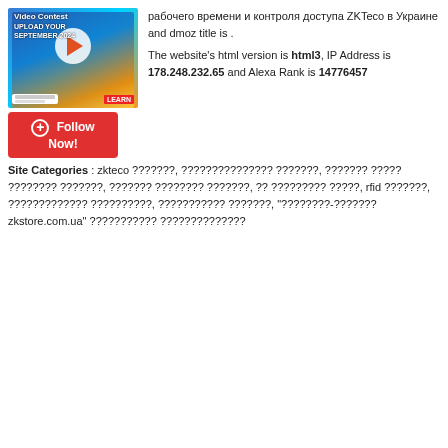[Figure (screenshot): Screenshot of a website showing a video contest banner with a red Follow Now! button below it]
рабочего времени и контроля доступа ZKTeco в Украине and dmoz title is .
The website's html version is html3, IP Address is 178.248.232.65 and Alexa Rank is 14776457
Site Categories : zkteco ???????, ??????????????? ???????, ??????? ????? ???????? ???????, ??????? ???????? ???????, ?? ????????? ?????, rfid ???????, ????????????? ??????????, ??????????? ???????, "????????-??????? zkstore.com.ua" ??????????? ??????????????